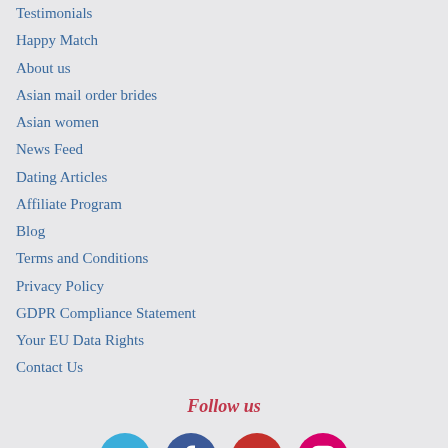Testimonials
Happy Match
About us
Asian mail order brides
Asian women
News Feed
Dating Articles
Affiliate Program
Blog
Terms and Conditions
Privacy Policy
GDPR Compliance Statement
Your EU Data Rights
Contact Us
Follow us
[Figure (infographic): Social media icons: Twitter (blue circle), Facebook (dark blue circle), YouTube (red circle), Instagram (pink/magenta circle)]